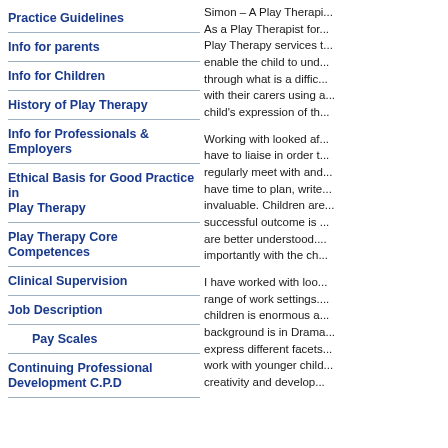Practice Guidelines
Info for parents
Info for Children
History of Play Therapy
Info for Professionals & Employers
Ethical Basis for Good Practice in Play Therapy
Play Therapy Core Competences
Clinical Supervision
Job Description
Pay Scales
Continuing Professional Development C.P.D
Simon – A Play Thera... As a Play Therapist for... Play Therapy services t... enable the child to und... through what is a diffic... with their carers using a... child's expression of th...
Working with looked af... have to liaise in order t... regularly meet with and... have time to plan, write... invaluable. Children are... successful outcome is ... are better understood. ... importantly with the ch...
I have worked with loo... range of work settings.... children is enormous a... background is in Dram... express different facets... work with younger chil... creativity and develop...